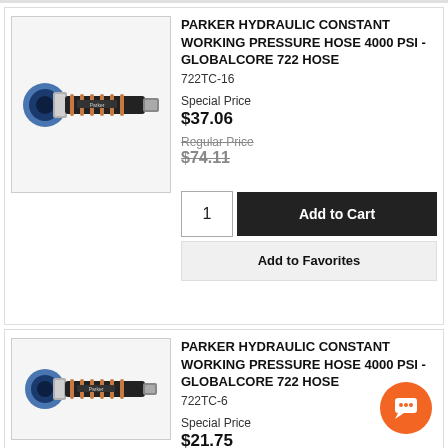[Figure (photo): Parker hydraulic hose product image - black hose with copper/brown spiral reinforcement bands and blue metal end fitting]
PARKER HYDRAULIC CONSTANT WORKING PRESSURE HOSE 4000 PSI - GLOBALCORE 722 HOSE
722TC-16
Special Price $37.06
Regular Price $74.11
1  Add to Cart
Add to Favorites
[Figure (photo): Parker hydraulic hose product image - black hose with copper/brown spiral reinforcement bands and blue metal end fitting]
PARKER HYDRAULIC CONSTANT WORKING PRESSURE HOSE 4000 PSI - GLOBALCORE 722 HOSE
722TC-6
Special Price $21.75
Regular Price $43.50